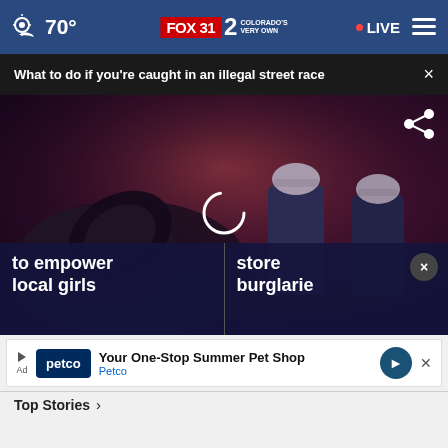70° FOX 31 2 COLORADO'S VERY OWN • LIVE ≡
What to do if you're caught in an illegal street race ×
[Figure (screenshot): Dark scene showing emergency workers/firefighters in hard hats examining wreckage from a crash/accident at night. Purple/red tones. Overlay shows a share icon and a loading spinner.]
to empower local girls
store burglaries ×
Your One-Stop Summer Pet Shop Petco
Top Stories ›